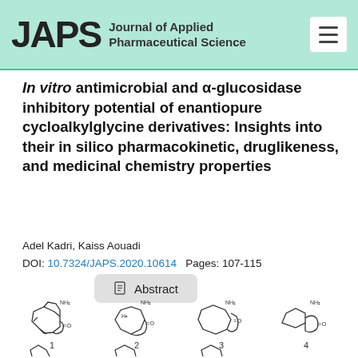JAPS Journal of Applied Pharmaceutical Science
In vitro antimicrobial and α-glucosidase inhibitory potential of enantiopure cycloalkylglycine derivatives: Insights into their in silico pharmacokinetic, druglikeness, and medicinal chemistry properties
Adel Kadri, Kaiss Aouadi
DOI: 10.7324/JAPS.2020.10614   Pages: 107-115
[Figure (illustration): Abstract button with document icon]
[Figure (illustration): Row of chemical structure diagrams of cycloalkylglycine derivatives labeled 1, 2, 3, 4]
[Figure (illustration): Second row of chemical structure diagrams (partially visible)]